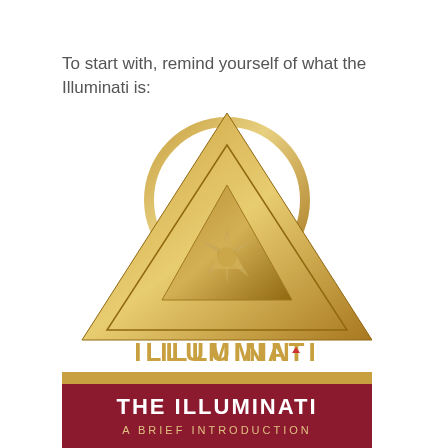To start with, remind yourself of what the Illuminati is:
[Figure (logo): Illuminati logo: golden triangle with a circle behind it and a star/compass symbol inside, with the word ILLUMINATI in gold letters below, with a small red triangle accent on the I]
[Figure (illustration): Book cover showing 'THE ILLUMINATI A BRIEF INTRODUCTION' on a dark red/crimson background with gold decorative border stripe at top]